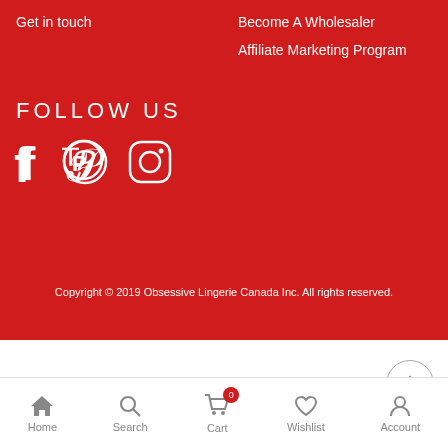Get in touch
Become A Wholesaler
Affiliate Marketing Program
FOLLOW US
[Figure (illustration): Social media icons: Facebook, Pinterest, Instagram]
Copyright © 2019 Obsessive Lingerie Canada Inc. All rights reserved.
[Figure (illustration): Scroll to top button with upward arrow]
[Figure (illustration): Bottom navigation bar with Home, Search, Cart (0), Wishlist, Account icons]